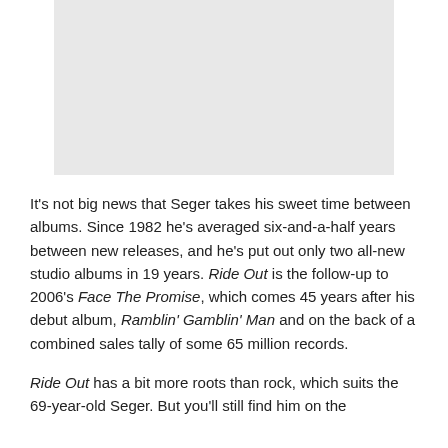[Figure (photo): Placeholder image area, light gray background]
It's not big news that Seger takes his sweet time between albums. Since 1982 he's averaged six-and-a-half years between new releases, and he's put out only two all-new studio albums in 19 years. Ride Out is the follow-up to 2006's Face The Promise, which comes 45 years after his debut album, Ramblin' Gamblin' Man and on the back of a combined sales tally of some 65 million records.
Ride Out has a bit more roots than rock, which suits the 69-year-old Seger. But you'll still find him on the